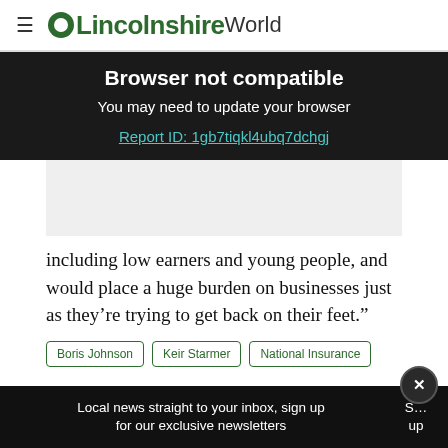LincolnshireWorld
Browser not compatible
You may need to update your browser
Report ID: 1gb7tiqkl4ubq7dchgj
[Figure (other): Grey advertisement placeholder box]
including low earners and young people, and would place a huge burden on businesses just as they’re trying to get back on their feet.”
Boris Johnson
Keir Starmer
National Insurance
Local news straight to your inbox, sign up for our exclusive newsletters